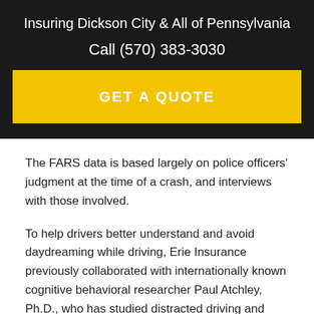Insuring Dickson City & All of Pennsylvania
Call (570) 383-3030
GET A QUOTE
The FARS data is based largely on police officers' judgment at the time of a crash, and interviews with those involved.
To help drivers better understand and avoid daydreaming while driving, Erie Insurance previously collaborated with internationally known cognitive behavioral researcher Paul Atchley, Ph.D., who has studied distracted driving and worked with national